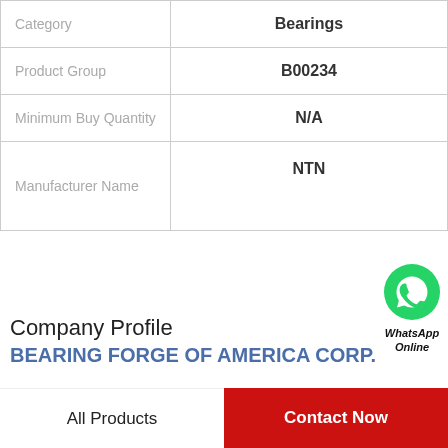| Field | Value |
| --- | --- |
| Category | Bearings |
| Product Group | B00234 |
| Minimum Buy Quantity | N/A |
| Manufacturer Name | NTN |
View more
[Figure (logo): WhatsApp green phone icon with text WhatsApp Online]
Company Profile
BEARING FORGE OF AMERICA CORP.
All Products
Contact Now